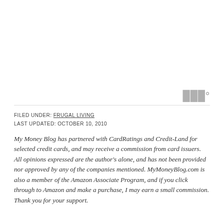FILED UNDER: FRUGAL LIVING
LAST UPDATED: OCTOBER 10, 2010
My Money Blog has partnered with CardRatings and Credit-Land for selected credit cards, and may receive a commission from card issuers. All opinions expressed are the author's alone, and has not been provided nor approved by any of the companies mentioned. MyMoneyBlog.com is also a member of the Amazon Associate Program, and if you click through to Amazon and make a purchase, I may earn a small commission. Thank you for your support.